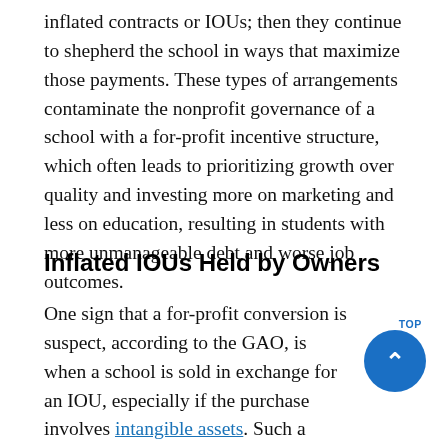inflated contracts or IOUs; then they continue to shepherd the school in ways that maximize those payments. These types of arrangements contaminate the nonprofit governance of a school with a for-profit incentive structure, which often leads to prioritizing growth over quality and investing more on marketing and less on education, resulting in students with more unmanageable debt and worse job outcomes.
Inflated IOUs Held by Owners
One sign that a for-profit conversion is suspect, according to the GAO, is when a school is sold in exchange for an IOU, especially if the purchase involves intangible assets. Such a transaction can allow a school's sales price to be inflated — which is